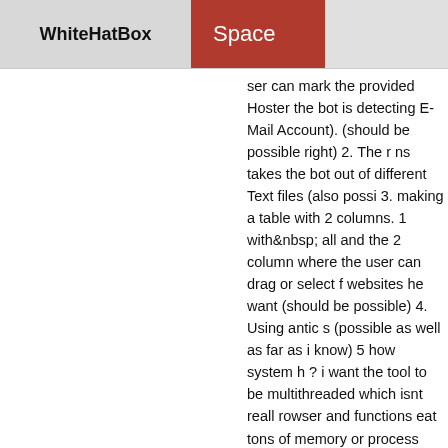WhiteHatBox  Space
ser can mark the provided Hoster the bot is detecting E-Mail Account). (should be possible right) 2. The r ns takes the bot out of different Text files (also possi 3. making a table with 2 columns. 1 with&nbsp; all and the 2 column where the user can drag or select f websites he want (should be possible) 4. Using antic s (possible as well as far as i know) 5 how system h ? i want the tool to be multithreaded which isnt reall rowser and functions eat tons of memory or process ssible to hide Browsers ? Other automationtools hav e you can turn on/off the browser so it wont show u ssources ? 7. how safe are programs created with bo ack them or bypass them ? 8. how dependent is my s chief. I mean some patches fucked the software up h that affect my tool as well ? or when your website ha ulties is my bot affected from it ? 9 just to get an sm an you tell roughly how big the botchief team is ? ju n eye for how big this company is, how fast updates d all that kind of things. thanks for all your answers
2019-10-02 11:32
My topic creating a GUI and combine ...
Hello Follov 1 me issue and in the send the